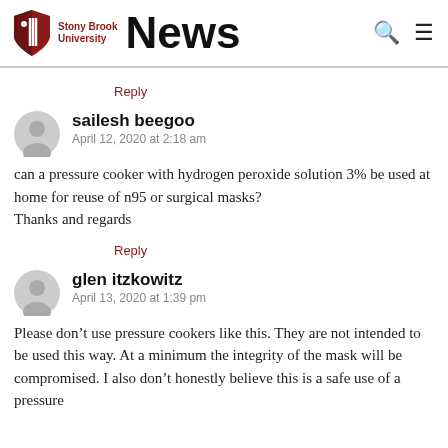Stony Brook University News
Reply
sailesh beegoo
April 12, 2020 at 2:18 am
can a pressure cooker with hydrogen peroxide solution 3% be used at home for reuse of n95 or surgical masks?
Thanks and regards
Reply
glen itzkowitz
April 13, 2020 at 1:39 pm
Please don't use pressure cookers like this. They are not intended to be used this way. At a minimum the integrity of the mask will be compromised. I also don't honestly believe this is a safe use of a pressure